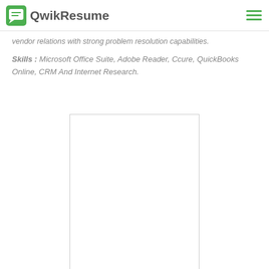QwikResume
vendor relations with strong problem resolution capabilities.
Skills : Microsoft Office Suite, Adobe Reader, Ccure, QuickBooks Online, CRM And Internet Research.
[Figure (other): Blank white rectangle preview box with light gray border, representing a resume preview placeholder.]